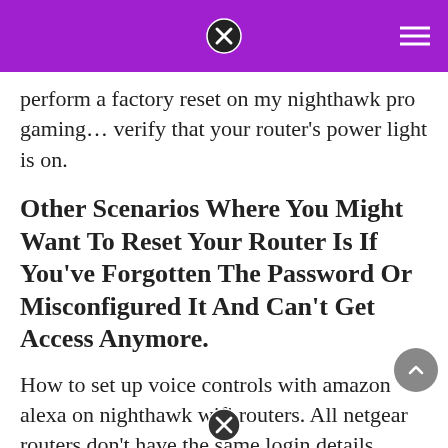perform a factory reset on my nighthawk pro gaming… verify that your router's power light is on.
Other Scenarios Where You Might Want To Reset Your Router Is If You've Forgotten The Password Or Misconfigured It And Can't Get Access Anymore.
How to set up voice controls with amazon alexa on nighthawk wifi routers. All netgear routers don't have the same login details. Launch a web browser from a computer or mobile device that is connected to your